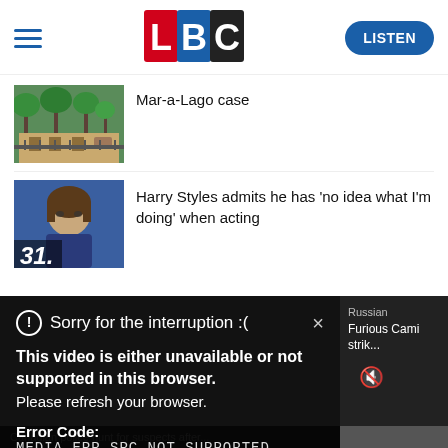[Figure (logo): LBC logo with L in red box, B in blue box, C in black box]
Mar-a-Lago case
[Figure (photo): Thumbnail of Mar-a-Lago building with palm trees]
Harry Styles admits he has 'no idea what I'm doing' when acting
[Figure (photo): Photo of Harry Styles with number 31 overlay]
Sorry for the interruption :( × This video is either unavailable or not supported in this browser. Please refresh your browser. Error Code: MEDIA ERR SRC NOT SUPPORTED
Russian Furious Cami strik...
Canadian police hunt for suspects after...